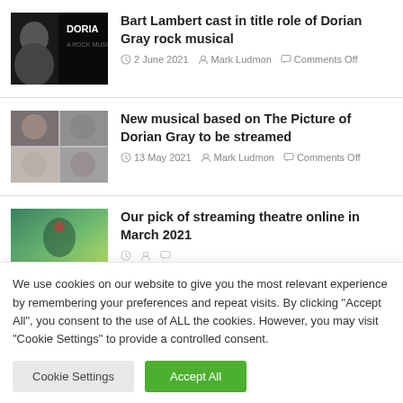[Figure (photo): Thumbnail of Dorian Gray book/movie cover with dark background and DORIA text]
Bart Lambert cast in title role of Dorian Gray rock musical
2 June 2021   Mark Ludmon   Comments Off
[Figure (photo): Thumbnail collage of cast headshots in a 2x2 grid]
New musical based on The Picture of Dorian Gray to be streamed
13 May 2021   Mark Ludmon   Comments Off
[Figure (photo): Thumbnail image with teal/green streaming theatre image]
Our pick of streaming theatre online in March 2021
We use cookies on our website to give you the most relevant experience by remembering your preferences and repeat visits. By clicking "Accept All", you consent to the use of ALL the cookies. However, you may visit "Cookie Settings" to provide a controlled consent.